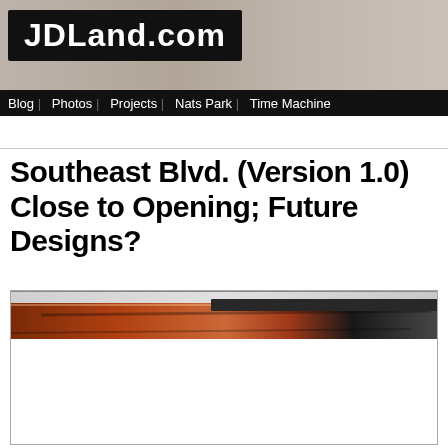JDLand.com
Blog | Photos | Projects | Nats Park | Time Machine
Southeast Blvd. (Version 1.0) Close to Opening; Future Designs?
[Figure (photo): Construction photo showing a steel/metal structural element in reddish-brown tones, likely a bridge or roadway understructure, with industrial equipment visible in the background.]